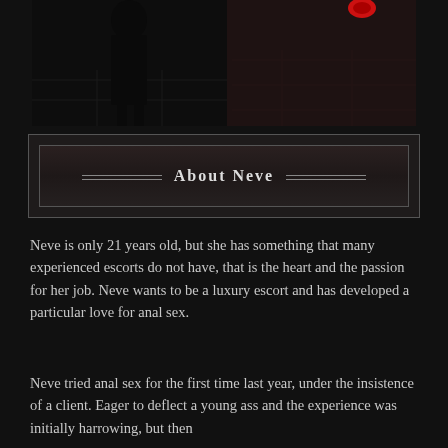[Figure (photo): Dark photograph showing a person dressed in black, standing on dark tile flooring. A red object is visible in the upper right area.]
About Neve
Neve is only 21 years old, but she has something that many experienced escorts do not have, that is the heart and the passion for her job. Neve wants to be a luxury escort and has developed a particular love for anal sex.
Neve tried anal sex for the first time last year, under the insistence of a client. Eager to deflect a young ass and the experience was initially harrowing, but then